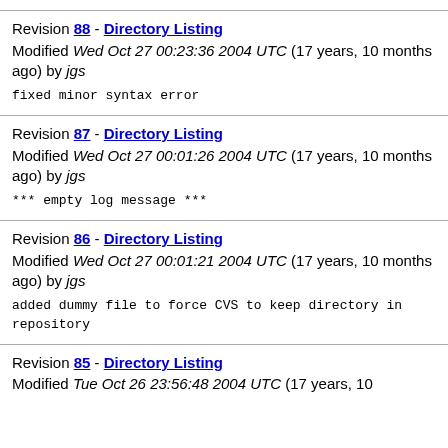Revision 88 - Directory Listing
Modified Wed Oct 27 00:23:36 2004 UTC (17 years, 10 months ago) by jgs
fixed minor syntax error
Revision 87 - Directory Listing
Modified Wed Oct 27 00:01:26 2004 UTC (17 years, 10 months ago) by jgs
*** empty log message ***
Revision 86 - Directory Listing
Modified Wed Oct 27 00:01:21 2004 UTC (17 years, 10 months ago) by jgs
added dummy file to force CVS to keep directory in repository
Revision 85 - Directory Listing
Modified Tue Oct 26 23:56:48 2004 UTC (17 years, 10